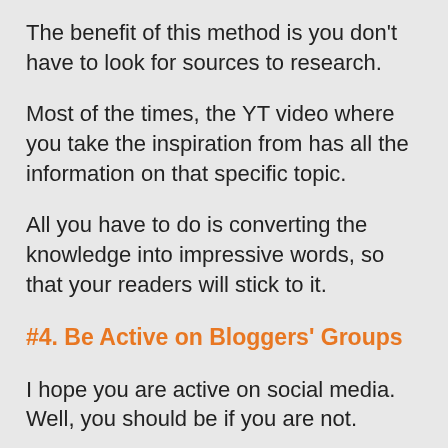The benefit of this method is you don't have to look for sources to research.
Most of the times, the YT video where you take the inspiration from has all the information on that specific topic.
All you have to do is converting the knowledge into impressive words, so that your readers will stick to it.
#4. Be Active on Bloggers' Groups
I hope you are active on social media. Well, you should be if you are not.
Social media is a pool of unlimited traffic for bloggers given that you efficiently use it.